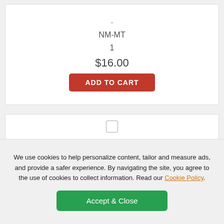-
NM-MT
1
$16.00
ADD TO CART
[Figure (photo): Baseball trading card featuring a Chicago White Sox player in white pinstripe uniform, gold border card design]
We use cookies to help personalize content, tailor and measure ads, and provide a safer experience. By navigating the site, you agree to the use of cookies to collect information. Read our Cookie Policy.
Accept & Close